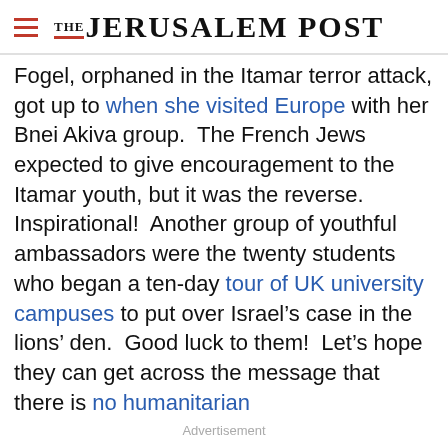THE JERUSALEM POST
Fogel, orphaned in the Itamar terror attack, got up to when she visited Europe with her Bnei Akiva group.  The French Jews expected to give encouragement to the Itamar youth, but it was the reverse. Inspirational!  Another group of youthful ambassadors were the twenty students who began a ten-day tour of UK university campuses to put over Israel’s case in the lions’ den.  Good luck to them!  Let’s hope they can get across the message that there is no humanitarian
Advertisement